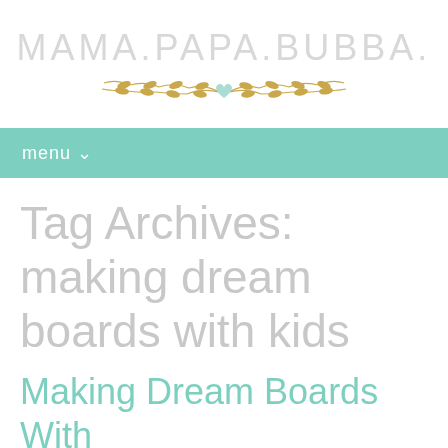MAMA.PAPA.BUBBA.
[Figure (illustration): Decorative golden laurel branch divider with a small mint/teal heart in the center]
menu ∨
Tag Archives: making dream boards with kids
Making Dream Boards With